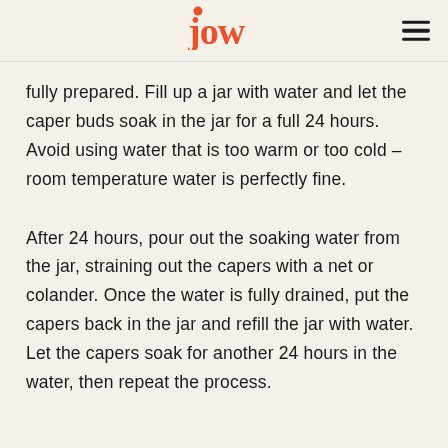jow
fully prepared. Fill up a jar with water and let the caper buds soak in the jar for a full 24 hours. Avoid using water that is too warm or too cold – room temperature water is perfectly fine.
After 24 hours, pour out the soaking water from the jar, straining out the capers with a net or colander. Once the water is fully drained, put the capers back in the jar and refill the jar with water. Let the capers soak for another 24 hours in the water, then repeat the process.